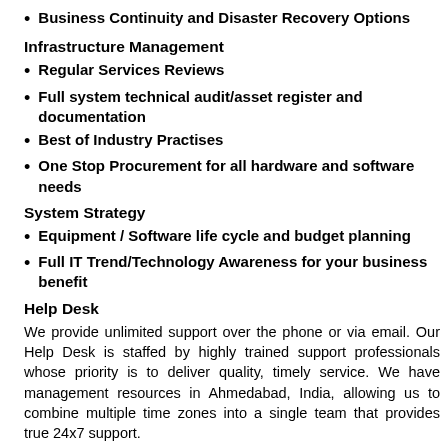Business Continuity and Disaster Recovery Options
Infrastructure Management
Regular Services Reviews
Full system technical audit/asset register and documentation
Best of Industry Practises
One Stop Procurement for all hardware and software needs
System Strategy
Equipment / Software life cycle and budget planning
Full IT Trend/Technology Awareness for your business benefit
Help Desk
We provide unlimited support over the phone or via email. Our Help Desk is staffed by highly trained support professionals whose priority is to deliver quality, timely service. We have management resources in Ahmedabad, India, allowing us to combine multiple time zones into a single team that provides true 24x7 support.
Remote Problem Analysis and Resolution
Our engineers are able to analyse and resolve over 90% of client issues remotely, increasing productivity, and reducing the need for costly on-site visits.
On-Site Support and Emergency Response
To ensure the ongoing reliability of client systems our engineers conduct re...